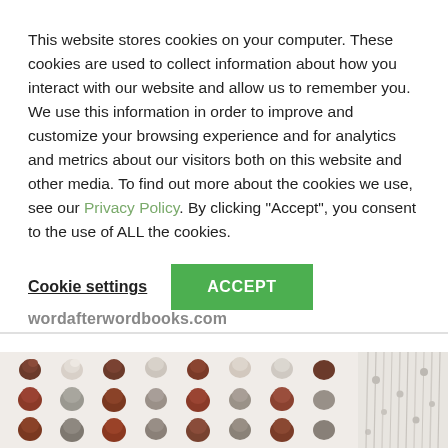This website stores cookies on your computer. These cookies are used to collect information about how you interact with our website and allow us to remember you. We use this information in order to improve and customize your browsing experience and for analytics and metrics about our visitors both on this website and other media. To find out more about the cookies we use, see our Privacy Policy. By clicking "Accept", you consent to the use of ALL the cookies.
Cookie settings  ACCEPT
wordafterwordbooks.com
[Figure (photo): Two photos side by side: left shows rows of colorful yarn knots/bunches in shades of brown, red, white, and grey arranged in a grid pattern on a white background; right shows a white macrame or fiber art piece with hanging threads.]